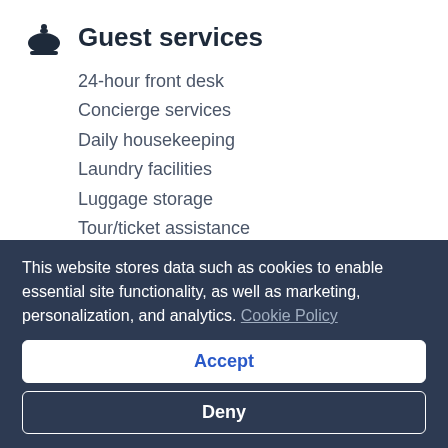Guest services
24-hour front desk
Concierge services
Daily housekeeping
Laundry facilities
Luggage storage
Tour/ticket assistance
Outdoors
Pool sunloungers
This website stores data such as cookies to enable essential site functionality, as well as marketing, personalization, and analytics. Cookie Policy
Accept
Deny